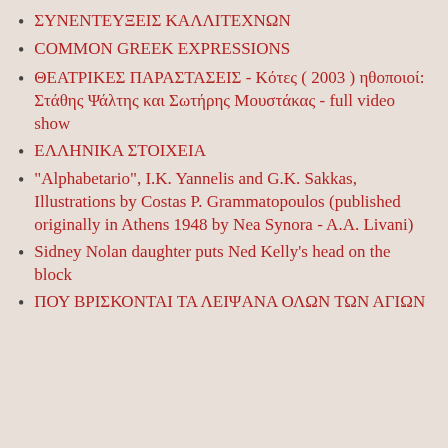ΣΥΝΕΝΤΕΥΞΕΙΣ ΚΑΛΛΙΤΕΧΝΩΝ
COMMON GREEK EXPRESSIONS
ΘΕΑΤΡΙΚΕΣ ΠΑΡΑΣΤΑΣΕΙΣ - Κότες ( 2003 ) ηθοποιοί: Στάθης Ψάλτης και Σωτήρης Μουστάκας - full video show
ΕΛΛΗΝΙΚΑ ΣΤΟΙΧΕΙΑ
"Alphabetario", I.K. Yannelis and G.K. Sakkas, Illustrations by Costas P. Grammatopoulos (published originally in Athens 1948 by Nea Synora - A.A. Livani)
Sidney Nolan daughter puts Ned Kelly's head on the block
ΠΟΥ ΒΡΙΣΚΟΝΤΑΙ ΤΑ ΛΕΙΨΑΝΑ ΟΛΩΝ ΤΩΝ ΑΓΙΩΝ